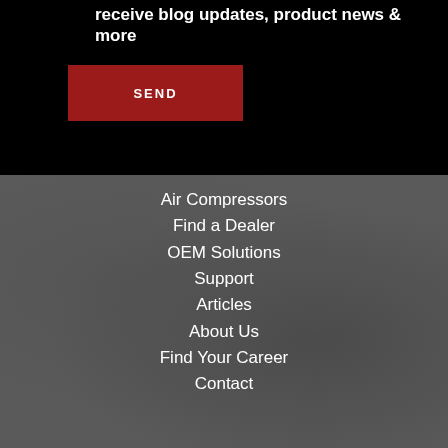receive blog updates, product news & more
SEND
Air Compressors
Find a Dealer
OEM Solutions
Support
Articles
About Us
Find Your Career
Contact